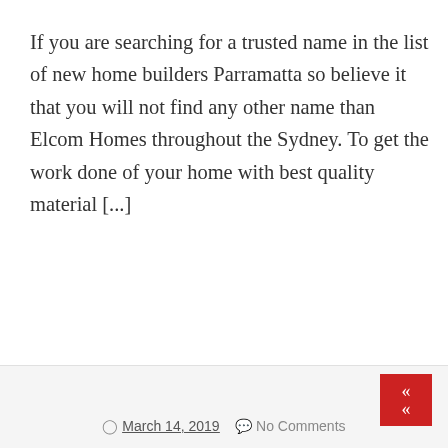If you are searching for a trusted name in the list of new home builders Parramatta so believe it that you will not find any other name than Elcom Homes throughout the Sydney. To get the work done of your home with best quality material [...]
CONTINUE READING
March 14, 2019   No Comments